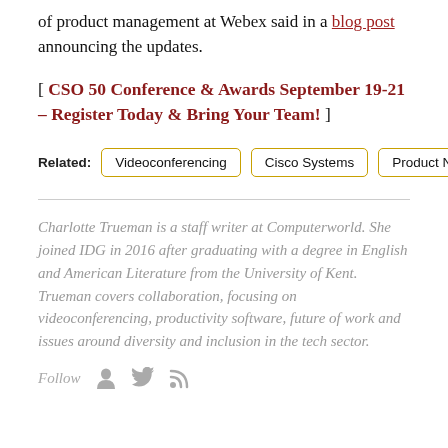of product management at Webex said in a blog post announcing the updates.
[ CSO 50 Conference & Awards September 19-21 – Register Today & Bring Your Team! ]
Related: Videoconferencing  Cisco Systems  Product News
Charlotte Trueman is a staff writer at Computerworld. She joined IDG in 2016 after graduating with a degree in English and American Literature from the University of Kent. Trueman covers collaboration, focusing on videoconferencing, productivity software, future of work and issues around diversity and inclusion in the tech sector.
Follow